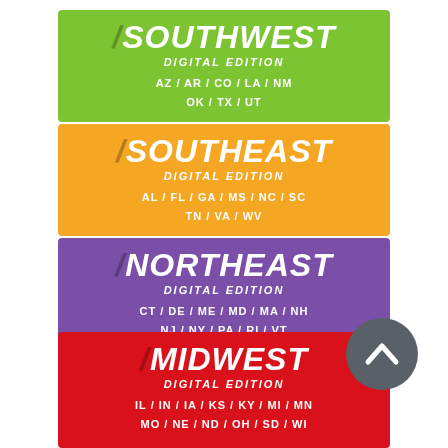[Figure (infographic): Four colored regional banner blocks (Southwest/green, Southeast/orange, Northeast/purple, Midwest/red) each showing region name, 'DIGITAL EDITION' subtitle, and list of US state abbreviations. A grey scroll-up button overlays the bottom-right corner.]